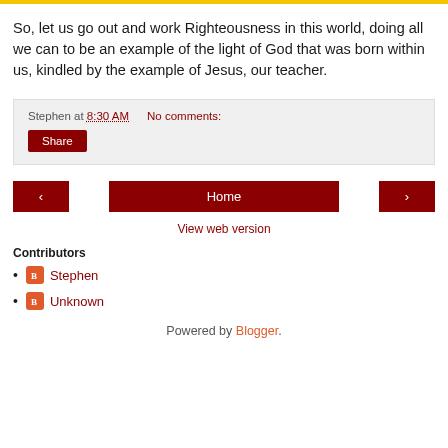So, let us go out and work Righteousness in this world, doing all we can to be an example of the light of God that was born within us, kindled by the example of Jesus, our teacher.
Stephen at 8:30 AM   No comments:
Share
‹  Home  ›
View web version
Contributors
Stephen
Unknown
Powered by Blogger.